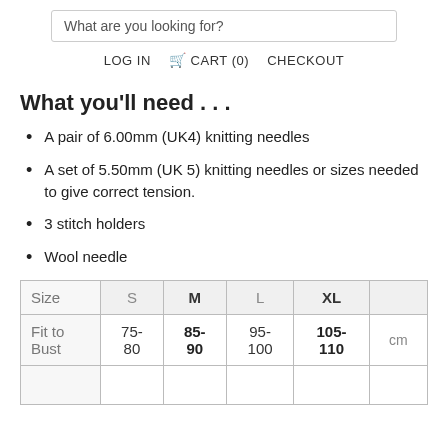What are you looking for?
LOG IN  CART (0)  CHECKOUT
What you'll need . . .
A pair of 6.00mm (UK4) knitting needles
A set of 5.50mm (UK 5) knitting needles or sizes needed to give correct tension.
3 stitch holders
Wool needle
| Size | S | M | L | XL |  |
| --- | --- | --- | --- | --- | --- |
| Fit to
Bust | 75-
80 | 85-
90 | 95-
100 | 105-
110 | cm |